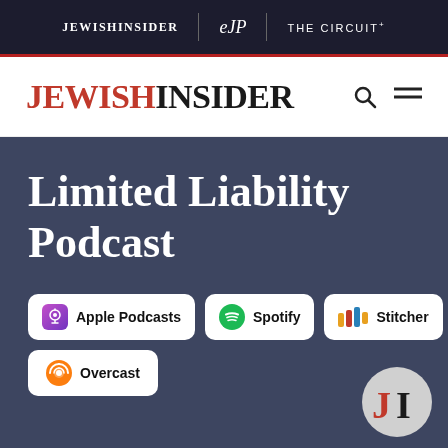JEWISHINSIDER | eJP | THE CIRCUIT+
[Figure (logo): JewishInsider logo with red JEWISH and black INSIDER text, search icon and hamburger menu icon on right]
Limited Liability Podcast
Apple Podcasts | Spotify | Stitcher | Overcast